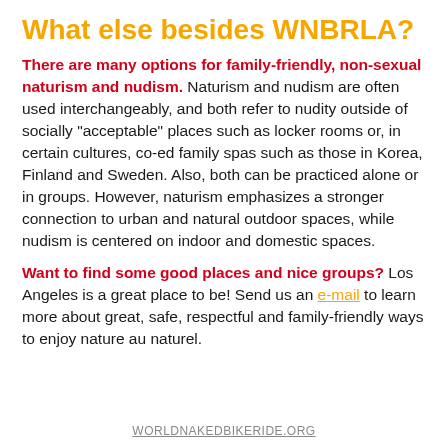What else besides WNBRLA?
There are many options for family-friendly, non-sexual naturism and nudism. Naturism and nudism are often used interchangeably, and both refer to nudity outside of socially "acceptable" places such as locker rooms or, in certain cultures, co-ed family spas such as those in Korea, Finland and Sweden. Also, both can be practiced alone or in groups. However, naturism emphasizes a stronger connection to urban and natural outdoor spaces, while nudism is centered on indoor and domestic spaces.
Want to find some good places and nice groups? Los Angeles is a great place to be! Send us an e-mail to learn more about great, safe, respectful and family-friendly ways to enjoy nature au naturel.
WORLDNAKEDBIKERIDE.ORG